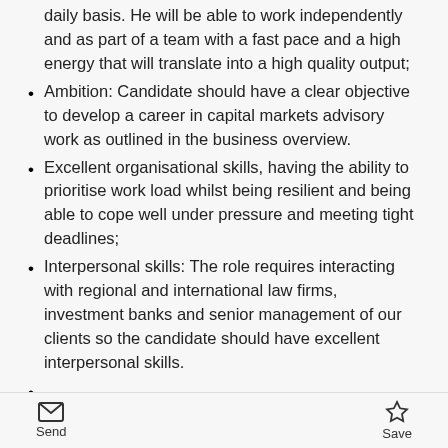daily basis. He will be able to work independently and as part of a team with a fast pace and a high energy that will translate into a high quality output;
Ambition: Candidate should have a clear objective to develop a career in capital markets advisory work as outlined in the business overview.
Excellent organisational skills, having the ability to prioritise work load whilst being resilient and being able to cope well under pressure and meeting tight deadlines;
Interpersonal skills: The role requires interacting with regional and international law firms, investment banks and senior management of our clients so the candidate should have excellent interpersonal skills.
Send  Save